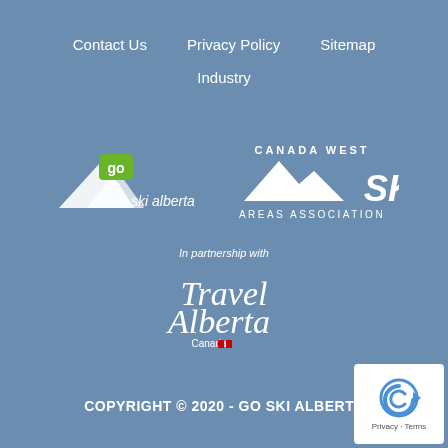Contact Us   Privacy Policy   Sitemap
Industry
[Figure (logo): Go Ski Alberta logo with mountain and green 'go' badge]
[Figure (logo): Canada West Ski Areas Association logo with mountain silhouette]
In partnership with
[Figure (logo): Travel Alberta Canada logo in script font with Canadian flag]
COPYRIGHT © 2020 - GO SKI ALBERTA
[Figure (other): reCAPTCHA badge with Privacy and Terms links]